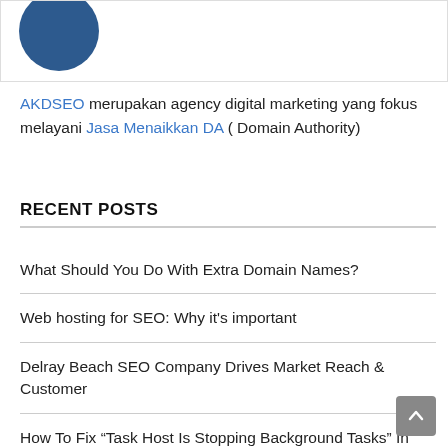[Figure (illustration): Partial view of a circular dark blue logo/avatar at the top of the page, cropped within a bordered image box]
AKDSEO merupakan agency digital marketing yang fokus melayani Jasa Menaikkan DA ( Domain Authority)
RECENT POSTS
What Should You Do With Extra Domain Names?
Web hosting for SEO: Why it’s important
Delray Beach SEO Company Drives Market Reach & Customer
How To Fix “Task Host Is Stopping Background Tasks” In
22 Best Digital Marketing Agencies In Sydney, Australia